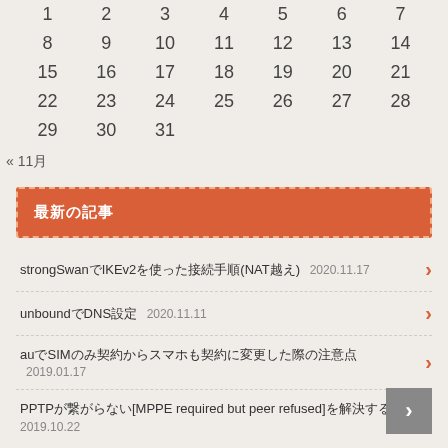| 1 | 2 | 3 | 4 | 5 | 6 | 7 |
| 8 | 9 | 10 | 11 | 12 | 13 | 14 |
| 15 | 16 | 17 | 18 | 19 | 20 | 21 |
| 22 | 23 | 24 | 25 | 26 | 27 | 28 |
| 29 | 30 | 31 |  |  |  |  |
« 11月
最新の記事
strongSwanでIKEv2を使った接続手順(NAT越え)  2020.11.17
unboundでDNS設定  2020.11.11
auでSIMのみ契約からスマホも契約に変更した際の注意点  2019.01.17
PPTPが繋がらない[MPPE required but peer refused]を解決する方法  2019.10.22